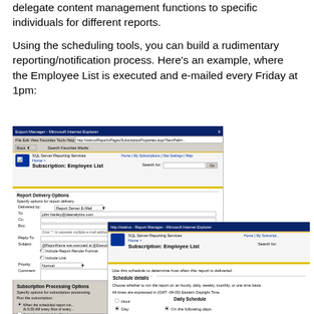delegate content management functions to specific individuals for different reports.
Using the scheduling tools, you can build a rudimentary reporting/notification process. Here's an example, where the Employee List is executed and e-mailed every Friday at 1pm:
[Figure (screenshot): Screenshot of Microsoft Internet Explorer showing SQL Server Reporting Services Report Manager with two overlapping windows. The main window shows a Subscription: Employee List form with Report Delivery Options (Delivered by: Report Server E-Mail, To: john.hanley@daanalytics.com, Subject: @ReportName was executed at @ExecutionTime, Include Report, Render Format: Acrobat (PDF) file, Include Link, Priority: Normal, Comment field) and Subscription Processing Options (Run the subscription: When the scheduled report runs). A second overlapping browser window shows another Subscription: Employee List page with text 'Use this schedule to determine how often this report is delivered.' and Schedule details section with options for Hour, Day, and Daily Schedule with 'On the following days:' option.]